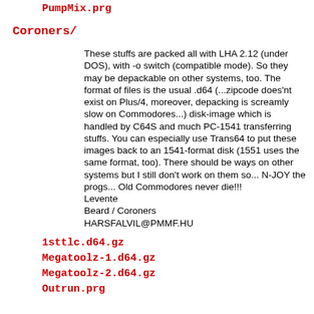PumpMix.prg
Coroners/
These stuffs are packed all with LHA 2.12 (under DOS), with -o switch (compatible mode). So they may be depackable on other systems, too. The format of files is the usual .d64 (...zipcode does'nt exist on Plus/4, moreover, depacking is screamly slow on Commodores...) disk-image which is handled by C64S and much PC-1541 transferring stuffs. You can especially use Trans64 to put these images back to an 1541-format disk (1551 uses the same format, too). There should be ways on other systems but I still don't work on them so... N-JOY the progs... Old Commodores never die!!!
Levente
Beard / Coroners
HARSFALVIL@PMMF.HU
1sttlc.d64.gz
Megatoolz-1.d64.gz
Megatoolz-2.d64.gz
Outrun.prg